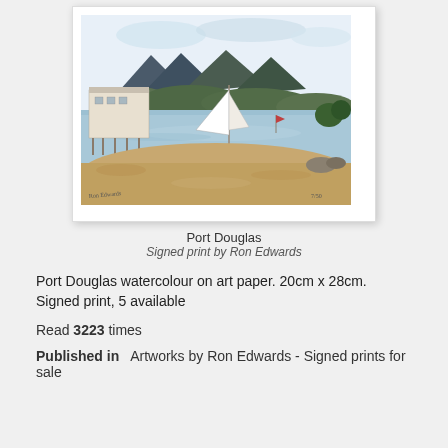[Figure (illustration): Watercolour painting of Port Douglas showing a pier/boathouse on stilts over water, a sailboat, mountains in background, sandy shore in foreground, with artist signature and edition number. Displayed as a framed print on white paper.]
Port Douglas
Signed print by Ron Edwards
Port Douglas watercolour on art paper. 20cm x 28cm. Signed print, 5 available
Read 3223 times
Published in  Artworks by Ron Edwards - Signed prints for sale